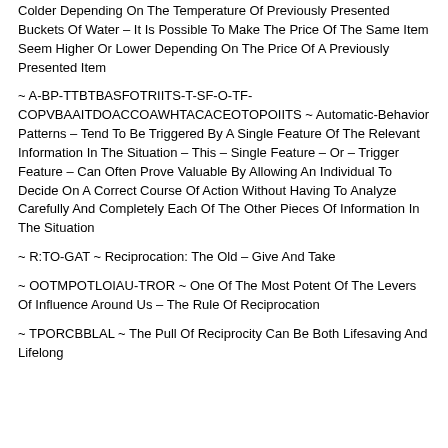Colder Depending On The Temperature Of Previously Presented Buckets Of Water – It Is Possible To Make The Price Of The Same Item Seem Higher Or Lower Depending On The Price Of A Previously Presented Item
~ A-BP-TTBTBASFOTRIITS-T-SF-O-TF-COPVBAAITDOACCOAWHTACACEOTOPOIITS ~ Automatic-Behavior Patterns – Tend To Be Triggered By A Single Feature Of The Relevant Information In The Situation – This – Single Feature – Or – Trigger Feature – Can Often Prove Valuable By Allowing An Individual To Decide On A Correct Course Of Action Without Having To Analyze Carefully And Completely Each Of The Other Pieces Of Information In The Situation
~ R:TO-GAT ~ Reciprocation: The Old – Give And Take
~ OOTMPOTLOIAU-TROR ~ One Of The Most Potent Of The Levers Of Influence Around Us – The Rule Of Reciprocation
~ TPORCBBLAL ~ The Pull Of Reciprocity Can Be Both Lifesaving And Lifelong